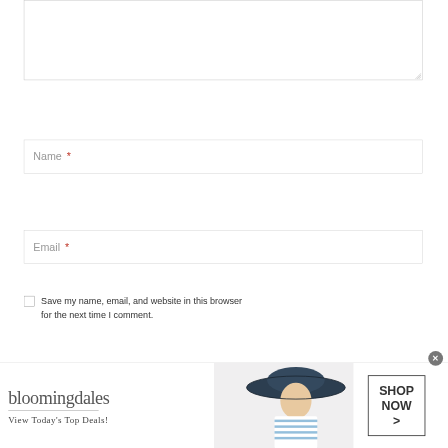[Figure (screenshot): Partial textarea input field (comment box) with resize handle in bottom-right corner]
Name *
Email *
Save my name, email, and website in this browser for the next time I comment.
[Figure (screenshot): Bloomingdale's advertisement banner with logo, tagline 'View Today's Top Deals!', model wearing a wide-brim hat, and a 'SHOP NOW >' button]